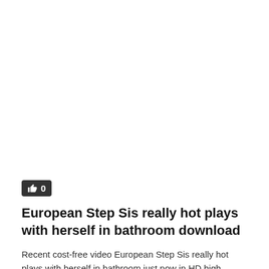[Figure (other): Like/thumbs-up button with count 0 on dark background]
European Step Sis really hot plays with herself in bathroom download
Recent cost-free video European Step Sis really hot plays with herself in bathroom just now in HD high quality (0)
dharvey  /  10/31/2020
0